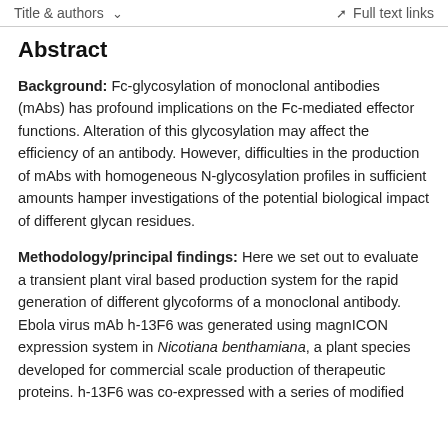Title & authors   ∨   Full text links
Abstract
Background: Fc-glycosylation of monoclonal antibodies (mAbs) has profound implications on the Fc-mediated effector functions. Alteration of this glycosylation may affect the efficiency of an antibody. However, difficulties in the production of mAbs with homogeneous N-glycosylation profiles in sufficient amounts hamper investigations of the potential biological impact of different glycan residues.
Methodology/principal findings: Here we set out to evaluate a transient plant viral based production system for the rapid generation of different glycoforms of a monoclonal antibody. Ebola virus mAb h-13F6 was generated using magnICON expression system in Nicotiana benthamiana, a plant species developed for commercial scale production of therapeutic proteins. h-13F6 was co-expressed with a series of modified